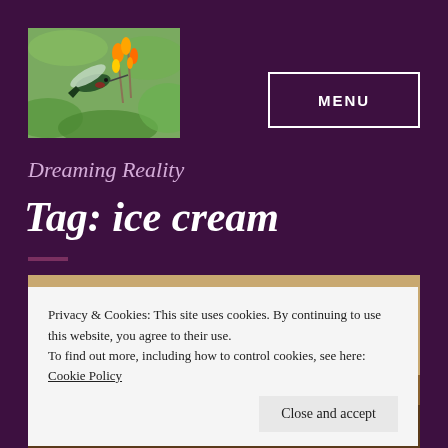[Figure (photo): Hummingbird feeding on orange and yellow tropical flowers with green leaves, blog logo image]
MENU
Dreaming Reality
Tag: ice cream
[Figure (photo): Partial view of food photograph, appears to show ice cream or dessert items, cropped at page edge]
Privacy & Cookies: This site uses cookies. By continuing to use this website, you agree to their use.
To find out more, including how to control cookies, see here: Cookie Policy
Close and accept